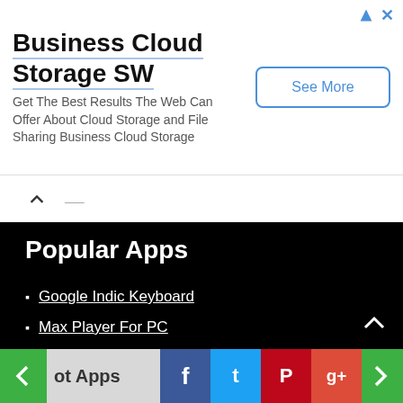[Figure (screenshot): Advertisement banner for Business Cloud Storage SW with See More button]
Popular Apps
Google Indic Keyboard
Max Player For PC
Shopee For PC
Youtube For PC
Video Downloader
Hot Apps — social share buttons (Facebook, Twitter, Pinterest, Google+) — navigation arrows